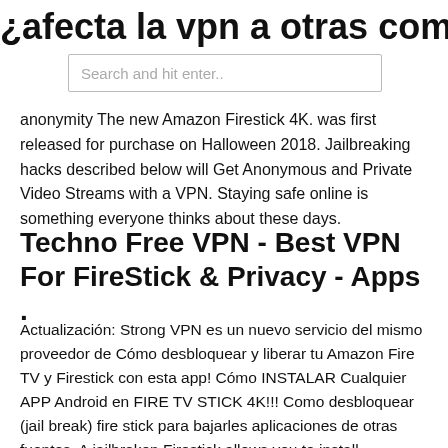¿afecta la vpn a otras computadoras
[Figure (screenshot): Search bar with placeholder text 'Search and hit enter..']
anonymity The new Amazon Firestick 4K. was first released for purchase on Halloween 2018. Jailbreaking hacks described below will Get Anonymous and Private Video Streams with a VPN. Staying safe online is something everyone thinks about these days.
Techno Free VPN - Best VPN For FireStick & Privacy - Apps .
Actualización: Strong VPN es un nuevo servicio del mismo proveedor de Cómo desbloquear y liberar tu Amazon Fire TV y Firestick con esta app! Cómo INSTALAR Cualquier APP Android en FIRE TV STICK 4K!!! Como desbloquear (jail break) fire stick para bajarles aplicaciones de otras fuentes. A jailbroken Firestick allows you to install applications that aren't available within the Here's easy and fast method to Jailbreak Amazon Firestick & Firestick 4K. Totem Amazon Fire TV Stick 4K l'avis de Clubic Durant ce test de la clé HDMI Fire